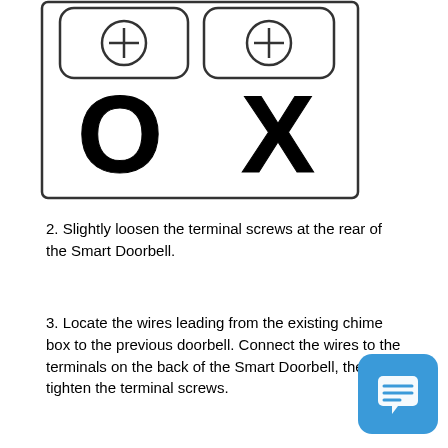[Figure (schematic): A rectangular bordered panel showing two rounded-rectangle terminal screw connectors side by side (each with a circled plus symbol) on top, and below them a large bold letter O on the left and a large bold letter X on the right.]
2. Slightly loosen the terminal screws at the rear of the Smart Doorbell.
3. Locate the wires leading from the existing chime box to the previous doorbell. Connect the wires to the terminals on the back of the Smart Doorbell, then tighten the terminal screws.